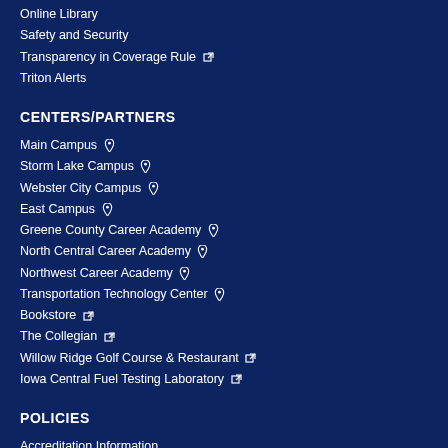Online Library
Safety and Security
Transparency in Coverage Rule [external]
Triton Alerts
CENTERS/PARTNERS
Main Campus [pin]
Storm Lake Campus [pin]
Webster City Campus [pin]
East Campus [pin]
Greene County Career Academy [pin]
North Central Career Academy [pin]
Northwest Career Academy [pin]
Transportation Technology Center [pin]
Bookstore [external]
The Collegian [external]
Willow Ridge Golf Course & Restaurant [external]
Iowa Central Fuel Testing Laboratory [external]
POLICIES
Accreditation Information
ADA Statement [doc]
Annual Non-Discrimination Statement [external]
Board Agendas